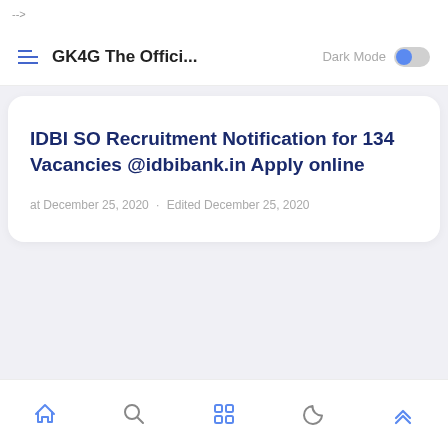-->
GK4G The Offici... Dark Mode
IDBI SO Recruitment Notification for 134 Vacancies @idbibank.in Apply online
at December 25, 2020 · Edited December 25, 2020
Home Search Grid Night Mode Top